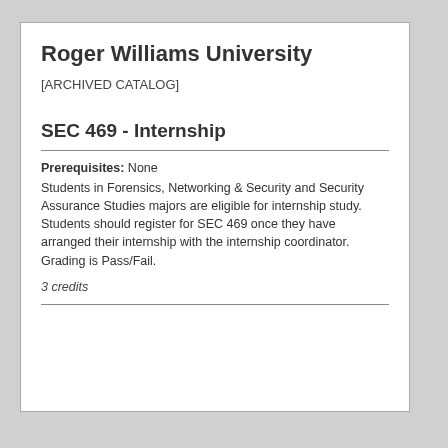Roger Williams University
[ARCHIVED CATALOG]
SEC 469 - Internship
Prerequisites: None
Students in Forensics, Networking & Security and Security Assurance Studies majors are eligible for internship study. Students should register for SEC 469 once they have arranged their internship with the internship coordinator. Grading is Pass/Fail.
3 credits